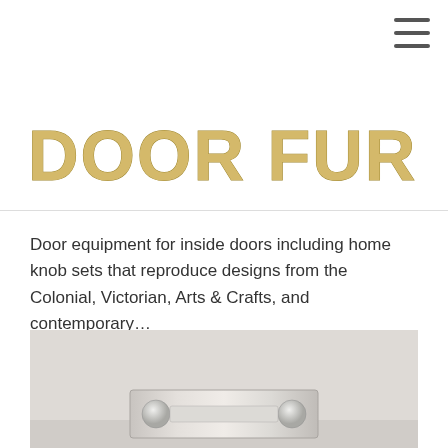[Figure (other): Hamburger menu icon (three horizontal lines) in top right corner]
DOOR FURNITURE
Door equipment for inside doors including home knob sets that reproduce designs from the Colonial, Victorian, Arts & Crafts, and contemporary…
READ MORE →
[Figure (photo): Photo of door furniture hardware — appears to show a door knob set or lock plate on a light background]